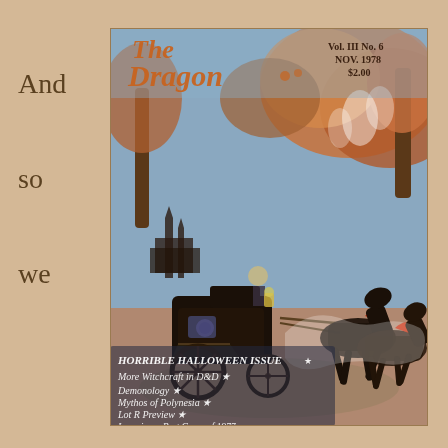And
so
we
[Figure (illustration): Cover of 'The Dragon' magazine, Vol. III No. 6, Nov. 1978, $2.00. Features a Halloween-themed fantasy illustration with a dark horse-drawn carriage driven by a skeletal figure, set against an autumnal landscape with a castle in the background, ghostly figures, and autumn trees. Text at bottom reads: HORRIBLE HALLOWEEN ISSUE, More Witchcraft in D&D, Demonology, Mythos of Polynesia, Lot R Preview, Imperium - Best Game of 1977.]